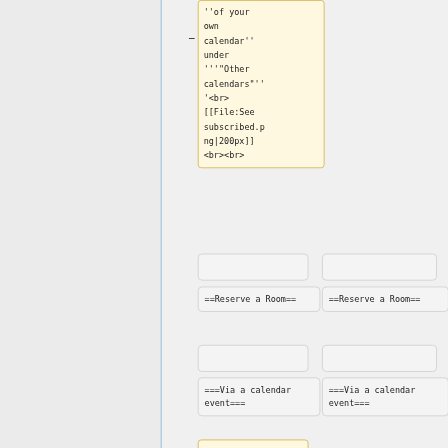''of your own calendar'' under '''"Other calendars"'' '<br> [[File:See subscribed.png|200px]] <br><br>
==Reserve a Room==
==Reserve a Room==
===Via a calendar event===
===Via a calendar event===